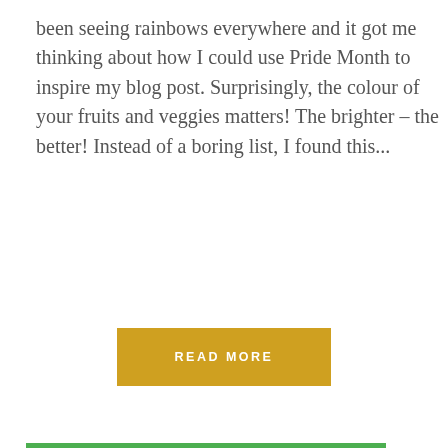been seeing rainbows everywhere and it got me thinking about how I could use Pride Month to inspire my blog post. Surprisingly, the colour of your fruits and veggies matters! The brighter – the better! Instead of a boring list, I found this...
READ MORE
[Figure (photo): Colorful microscopic image of various bacteria in green, teal, pink, yellow, blue, white and brown colors on a dark background]
Privacy & Cookies: This site uses cookies. By continuing to use this website, you agree to their use.
To find out more, including how to control cookies, see here: Cookie Policy
Close and accept